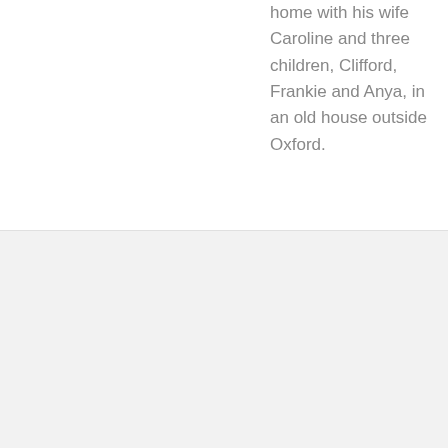home with his wife Caroline and three children, Clifford, Frankie and Anya, in an old house outside Oxford.
Subscribe to Our Newsletter
First Name
Last Name